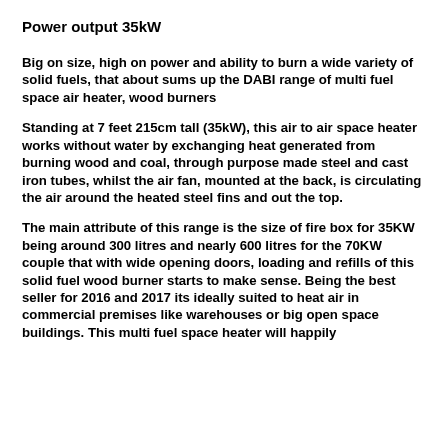Power output 35kW
Big on size, high on power and ability to burn a wide variety of solid fuels, that about sums up the DABI range of multi fuel space air heater, wood burners
Standing at 7 feet 215cm tall (35kW), this air to air space heater works without water by exchanging heat generated from burning wood and coal, through purpose made steel and cast iron tubes, whilst the air fan, mounted at the back, is circulating the air around the heated steel fins and out the top.
The main attribute of this range is the size of fire box for 35KW being around 300 litres and nearly 600 litres for the 70KW couple that with wide opening doors, loading and refills of this solid fuel wood burner starts to make sense. Being the best seller for 2016 and 2017 its ideally suited to heat air in commercial premises like warehouses or big open space buildings. This multi fuel space heater will happily